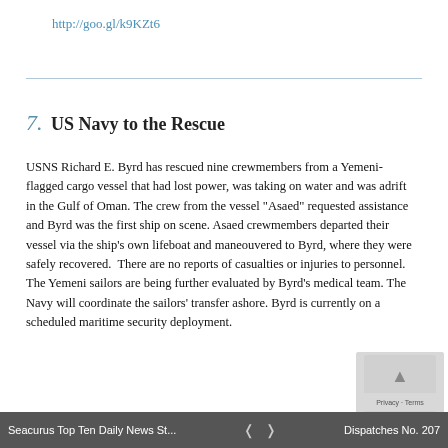http://goo.gl/k9KZt6
7. US Navy to the Rescue
USNS Richard E. Byrd has rescued nine crewmembers from a Yemeni-flagged cargo vessel that had lost power, was taking on water and was adrift in the Gulf of Oman. The crew from the vessel "Asaed" requested assistance and Byrd was the first ship on scene. Asaed crewmembers departed their vessel via the ship's own lifeboat and maneouvered to Byrd, where they were safely recovered.  There are no reports of casualties or injuries to personnel. The Yemeni sailors are being further evaluated by Byrd's medical team. The Navy will coordinate the sailors' transfer ashore. Byrd is currently on a scheduled maritime security deployment.
http://goo.gl/8UsqFi
Seacurus Top Ten Daily News St... < > Dispatches No. 207